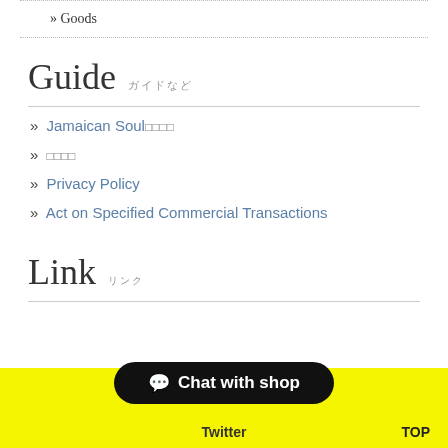» Goods
Guide
» Jamaican Soul🎵🎵🎵🎵
» ▪▪▪▪
» Privacy Policy
» Act on Specified Commercial Transactions
Link
[Figure (other): Yellow banner with black chat button labeled 'Chat with shop' and Twitter label at bottom, with TOP link at bottom right]